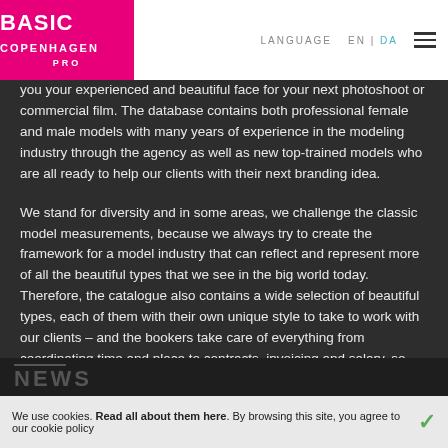BASIC COPENHAGEN PRO | LANGUAGE EN | DA
you your experienced and beautiful face for your next photoshoot or commercial film. The database contains both professional female and male models with many years of experience in the modeling industry through the agency as well as new top-trained models who are all ready to help our clients with their next branding idea.
We stand for diversity and in some areas, we challenge the classic model measurements, because we always try to create the framework for a model industry that can reflect and represent more of all the beautiful types that we see in the big world today. Therefore, the catalogue also contains a wide selection of beautiful types, each of them with their own unique style to take to work with our clients – and the bookers take care of everything from coordinating time and place to contracts, invoicing and salary, so our clients get an easy and secure booking process.
NEWS
We use cookies. Read all about them here. By browsing this site, you agree to our cookie policy